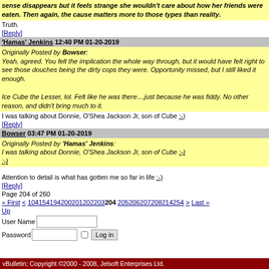sense disappears but it feels strange she wouldn't care about how her friends were eaten. Then again, the cause matters more to those types than reality.
Truth.
[Reply]
'Hamas' Jenkins 12:40 PM 01-20-2019
Originally Posted by Bowser: Yeah, agreed. You felt the implication the whole way through, but it would have felt right to see those douches being the dirty cops they were. Opportunity missed, but I still liked it enough.

Ice Cube the Lesser, lol. Felt like he was there....just because he was fiddy. No other reason, and didn't bring much to it.
I was talking about Donnie, O'Shea Jackson Jr, son of Cube :-)
[Reply]
Bowser 03:47 PM 01-20-2019
Originally Posted by 'Hamas' Jenkins: I was talking about Donnie, O'Shea Jackson Jr, son of Cube :-)
:-)
Attention to detail is what has gotten me so far in life :-)
[Reply]
Page 204 of 260
« First < 104154194200201202203 204 205206207208214254 > Last »
Up
User Name [input] Password [input] [checkbox] Log in
vBulletin; Copyright ©2000 - 2008, Jelsoft Enterprises Ltd.